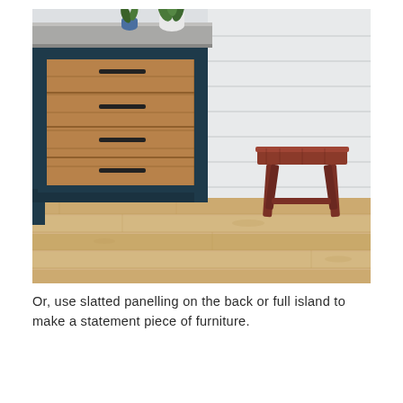[Figure (photo): Interior photo of a kitchen island with navy blue painted cabinetry, four wooden drawer fronts with recessed black handles, a light grey concrete-style countertop with a white vase containing green plants. A rustic red-painted wooden stool sits to the right on light oak herringbone-style flooring. The background wall has white horizontal shiplap panelling.]
Or, use slatted panelling on the back or full island to make a statement piece of furniture.